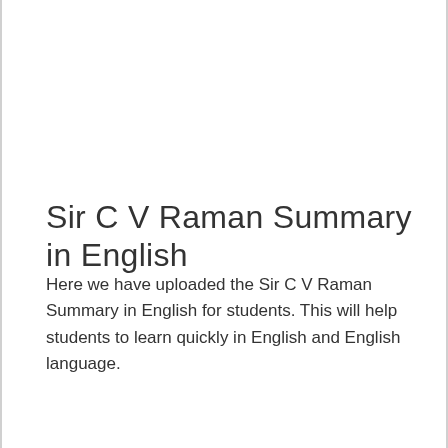Sir C V Raman Summary in English
Here we have uploaded the Sir C V Raman Summary in English for students. This will help students to learn quickly in English and English language.